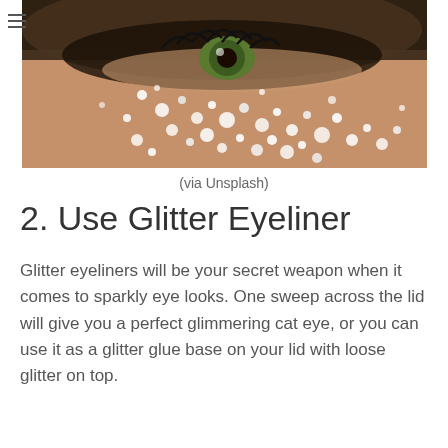[Figure (photo): Close-up photo of a person's eye with glitter scattered across the cheek and eyelid area, with a green/hazel eye visible and long eyelashes.]
(via Unsplash)
2. Use Glitter Eyeliner
Glitter eyeliners will be your secret weapon when it comes to sparkly eye looks. One sweep across the lid will give you a perfect glimmering cat eye, or you can use it as a glitter glue base on your lid with loose glitter on top.